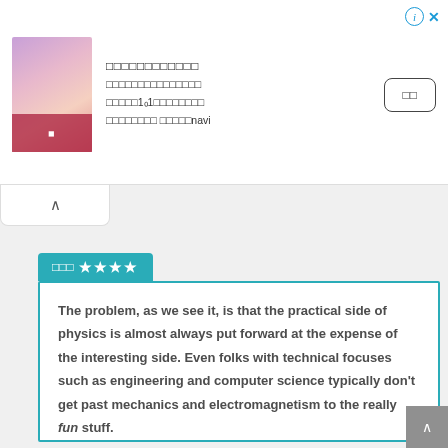[Figure (screenshot): Advertisement banner with a woman's photo, Japanese text, and a call-to-action button with info and close icons]
[Figure (other): Collapse/chevron up button below the ad banner]
□□□ ★★★★
The problem, as we see it, is that the practical side of physics is almost always put forward at the expense of the interesting side. Even folks with technical focuses such as engineering and computer science typically don't get past mechanics and electromagnetism to the really fun stuff.